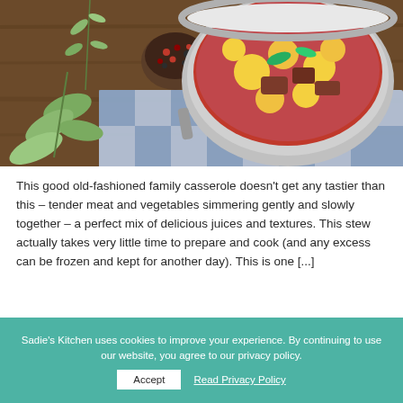[Figure (photo): Overhead food photo of a pot of beef and potato stew with a rich red-orange sauce, surrounded by fresh herbs and a blue-and-white checkered cloth on a wooden table.]
This good old-fashioned family casserole doesn't get any tastier than this – tender meat and vegetables simmering gently and slowly together – a perfect mix of delicious juices and textures. This stew actually takes very little time to prepare and cook (and any excess can be frozen and kept for another day). This is one [...]
CONTINUE READING →
Sadie's Kitchen uses cookies to improve your experience. By continuing to use our website, you agree to our privacy policy.
Accept
Read Privacy Policy